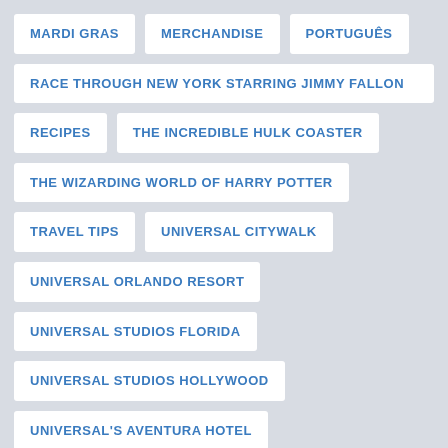MARDI GRAS
MERCHANDISE
PORTUGUÊS
RACE THROUGH NEW YORK STARRING JIMMY FALLON
RECIPES
THE INCREDIBLE HULK COASTER
THE WIZARDING WORLD OF HARRY POTTER
TRAVEL TIPS
UNIVERSAL CITYWALK
UNIVERSAL ORLANDO RESORT
UNIVERSAL STUDIOS FLORIDA
UNIVERSAL STUDIOS HOLLYWOOD
UNIVERSAL'S AVENTURA HOTEL
UNIVERSAL'S CABANA BAY BEACH RESORT